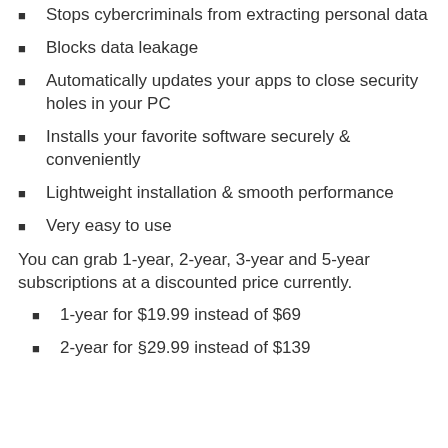Stops cybercriminals from extracting personal data
Blocks data leakage
Automatically updates your apps to close security holes in your PC
Installs your favorite software securely & conveniently
Lightweight installation & smooth performance
Very easy to use
You can grab 1-year, 2-year, 3-year and 5-year subscriptions at a discounted price currently.
1-year for $19.99 instead of $69
2-year for §29.99 instead of $139